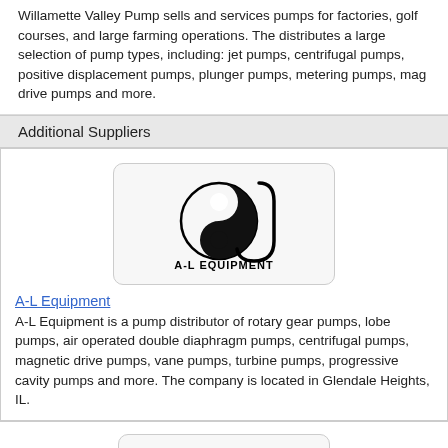Willamette Valley Pump sells and services pumps for factories, golf courses, and large farming operations. The distributes a large selection of pump types, including: jet pumps, centrifugal pumps, positive displacement pumps, plunger pumps, metering pumps, mag drive pumps and more.
Additional Suppliers
[Figure (logo): A-L Equipment logo: circular yin-yang style symbol with letter J, text 'A-L EQUIPMENT' beneath]
A-L Equipment
A-L Equipment is a pump distributor of rotary gear pumps, lobe pumps, air operated double diaphragm pumps, centrifugal pumps, magnetic drive pumps, vane pumps, turbine pumps, progressive cavity pumps and more. The company is located in Glendale Heights, IL.
[Figure (logo): Arizona Pump & Equipment Co. logo with pump icon and red text]